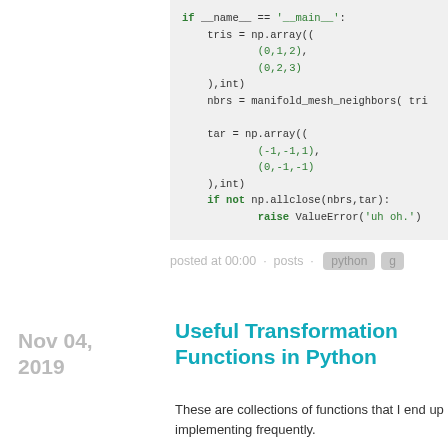[Figure (screenshot): Python code block showing if __name__ == '__main__': block with tris = np.array, nbrs = manifold_mesh_neighbors(tri..., tar = np.array, if not np.allclose(nbrs,tar): raise ValueError('uh oh.')]
posted at 00:00 · posts · python · g
Nov 04, 2019
Useful Transformation Functions in Python
These are collections of functions that I end up implementing frequently.